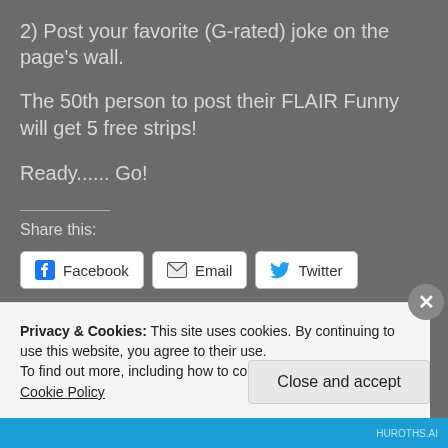2) Post your favorite (G-rated) joke on the page's wall.
The 50th person to post their FLAIR Funny will get 5 free strips!
Ready...... Go!
Share this:
[Figure (screenshot): Social share buttons: Facebook, Email, Twitter, and Like button]
Privacy & Cookies: This site uses cookies. By continuing to use this website, you agree to their use.
To find out more, including how to control cookies, see here: Cookie Policy
Close and accept